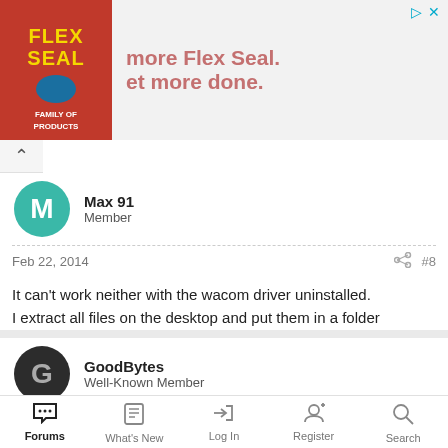[Figure (screenshot): Flex Seal advertisement banner with red logo on left and salmon-colored text 'more Flex Seal.' and 'et more done.' on right]
Max 91
Member
Feb 22, 2014
#8
It can't work neither with the wacom driver uninstalled.
I extract all files on the desktop and put them in a folder
GoodBytes
Well-Known Member
Feb 22, 2014
#9
When you uninstall the drivers, does your pen work properly like
Forums  What's New  Log In  Register  Search